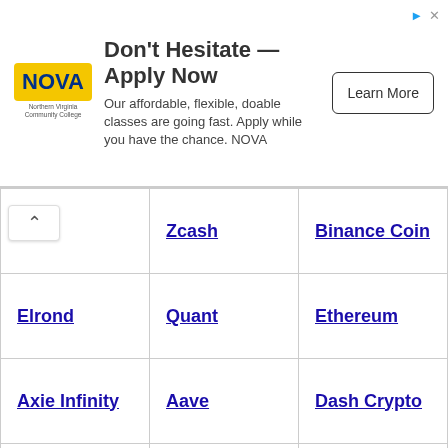[Figure (other): NOVA Northern Virginia Community College advertisement banner with logo, headline 'Don't Hesitate — Apply Now', body text 'Our affordable, flexible, doable classes are going fast. Apply while you have the chance. NOVA', and a 'Learn More' button.]
| Column 1 | Column 2 | Column 3 |
| --- | --- | --- |
| (t)er | Zcash | Binance Coin |
| Elrond | Quant | Ethereum |
| Axie Infinity | Aave | Dash Crypto |
| Yem.Finance | Monero | Compound |
| Solana | Litcoin | Alien Shibu Inu |
| Sunny Leone Token | Bitcoin Sv | Bitcoin BEP2 |
| Bitcoin | USD Coin | Polkadot |